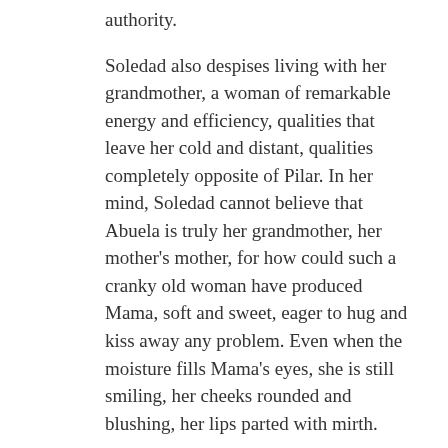authority.
Soledad also despises living with her grandmother, a woman of remarkable energy and efficiency, qualities that leave her cold and distant, qualities completely opposite of Pilar. In her mind, Soledad cannot believe that Abuela is truly her grandmother, her mother’s mother, for how could such a cranky old woman have produced Mama, soft and sweet, eager to hug and kiss away any problem. Even when the moisture fills Mama’s eyes, she is still smiling, her cheeks rounded and blushing, her lips parted with mirth.
[Figure (infographic): Longreads advertisement banner on dark red background with tagline: The best stories on the web — ours, and everyone else’s.]
Manuel enters Abuela’s home with a kitten, not newborn but not old and ugly yet. Manuel clasps the